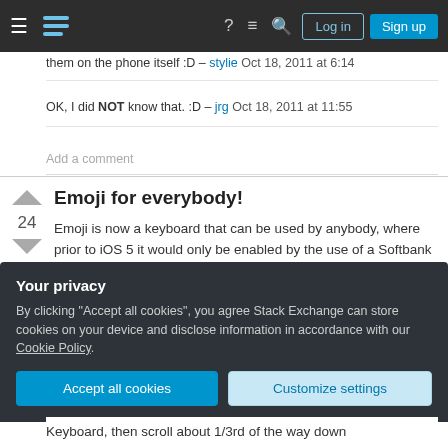Stack Exchange navigation bar with Log in and Sign up buttons
them on the phone itself :D – stylie Oct 18, 2011 at 6:14
OK, I did NOT know that. :D – jrg Oct 18, 2011 at 11:55
Add a comment
Emoji for everybody!
Emoji is now a keyboard that can be used by anybody, where prior to iOS 5 it would only be enabled by the use of a Softbank (Japanese Cell
Your privacy
By clicking “Accept all cookies”, you agree Stack Exchange can store cookies on your device and disclose information in accordance with our Cookie Policy.
Accept all cookies
Customize settings
Keyboard, then scroll about 1/3rd of the way down